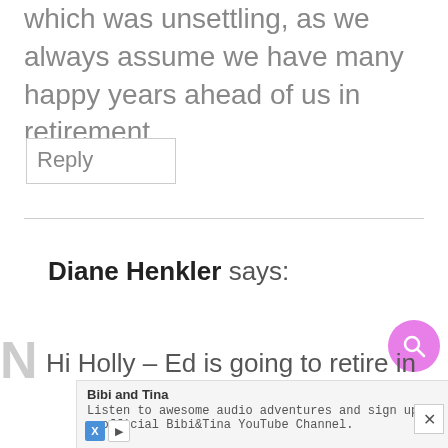which was unsettling, as we always assume we have many happy years ahead of us in retirement.
Reply
Diane Henkler says:
Hi Holly – Ed is going to retire in
[Figure (screenshot): Ad banner for Bibi and Tina: 'Listen to awesome audio adventures and sign up for the official Bibi&Tina YouTube Channel.']